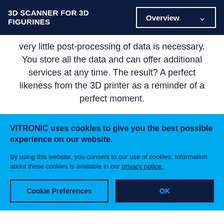3D SCANNER FOR 3D FIGURINES
very little post-processing of data is necessary. You store all the data and can offer additional services at any time. The result? A perfect likeness from the 3D printer as a reminder of a perfect moment.
VITRONIC uses cookies to give you the best possible experience on our website.
By using this website, you consent to our use of cookies. Information about these cookies is available in our privacy notice.